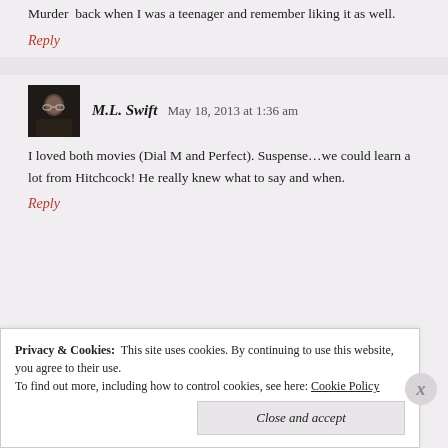Murder back when I was a teenager and remember liking it as well.
Reply
M.L. Swift   May 18, 2013 at 1:36 am
I loved both movies (Dial M and Perfect). Suspense...we could learn a lot from Hitchcock! He really knew what to say and when.
Reply
Privacy & Cookies: This site uses cookies. By continuing to use this website, you agree to their use. To find out more, including how to control cookies, see here: Cookie Policy
Close and accept